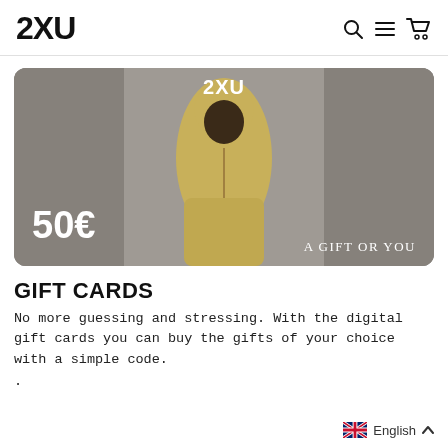2XU
[Figure (photo): 2XU gift card showing a person in a yellow athletic outfit and head covering. Card displays '50€' in the bottom left and 'A GIFT OR YOU' in the bottom right. '2XU' logo appears at the top center of the card. Background is muted grey.]
GIFT CARDS
No more guessing and stressing. With the digital gift cards you can buy the gifts of your choice with a simple code.
.
English